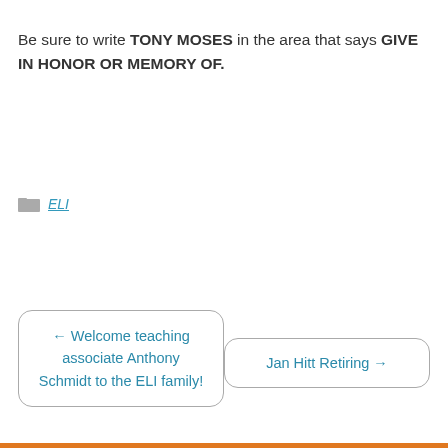Be sure to write TONY MOSES in the area that says GIVE IN HONOR OR MEMORY OF.
ELI
← Welcome teaching associate Anthony Schmidt to the ELI family!
Jan Hitt Retiring →